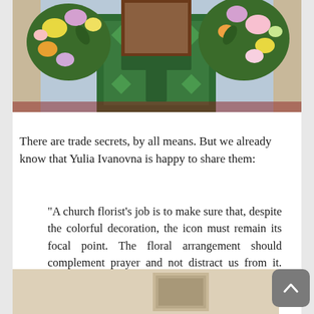[Figure (photo): Church altar decorated with floral arrangement surrounding an icon, with green embroidered vestments and colorful flowers]
There are trade secrets, by all means. But we already know that Yulia Ivanovna is happy to share them:
“A church florist’s job is to make sure that, despite the colorful decoration, the icon must remain its focal point. The floral arrangement should complement prayer and not distract us from it. Everything should be in harmony. It should “scream” when it has no décor at all, and not when there is.”
[Figure (photo): Partial view of a room with a framed picture on the wall]